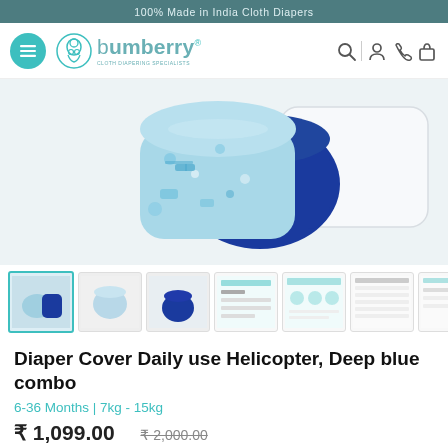100% Made in India Cloth Diapers
[Figure (screenshot): Bumberry brand navigation bar with hamburger menu, logo, and icons for search, account, phone, and cart]
[Figure (photo): Product image showing Diaper Cover Daily use Helicopter and Deep blue combo — light blue printed diaper cover with helicopter/cloud pattern, dark blue solid diaper cover, and white insert pad]
[Figure (photo): Thumbnail gallery row with 7 product images including front view, back view, standalone blue diaper, feature infographics, and size chart]
Diaper Cover Daily use Helicopter, Deep blue combo
6-36 Months | 7kg - 15kg
₹ 1,099.00 ₹ 2,000.00